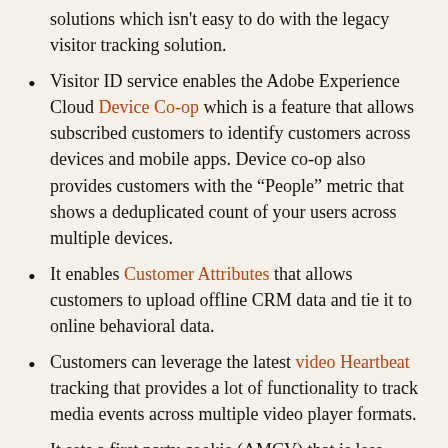solutions which isn't easy to do with the legacy visitor tracking solution.
Visitor ID service enables the Adobe Experience Cloud Device Co-op which is a feature that allows subscribed customers to identify customers across devices and mobile apps. Device co-op also provides customers with the “People” metric that shows a deduplicated count of your users across multiple devices.
It enables Customer Attributes that allows customers to upload offline CRM data and tie it to online behavioral data.
Customers can leverage the latest video Heartbeat tracking that provides a lot of functionality to track media events across multiple video player formats.
It sets a first party cookie (AMCV) that is less susceptible to deletion. The legacy visitor tracking method (by default) sets a third party cookie that is more likely to be deleted by browsers, firewalls and ad blockers. This benefit may not apply to customers who